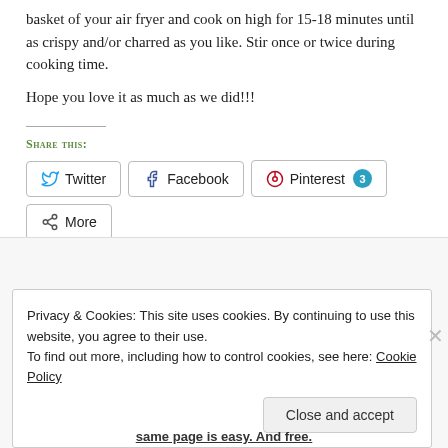basket of your air fryer and cook on high for 15-18 minutes until as crispy and/or charred as you like. Stir once or twice during cooking time.
Hope you love it as much as we did!!!
Share this:
Twitter  Facebook  Pinterest 3  More  Loading...
Privacy & Cookies: This site uses cookies. By continuing to use this website, you agree to their use. To find out more, including how to control cookies, see here: Cookie Policy
same page is easy. And free.